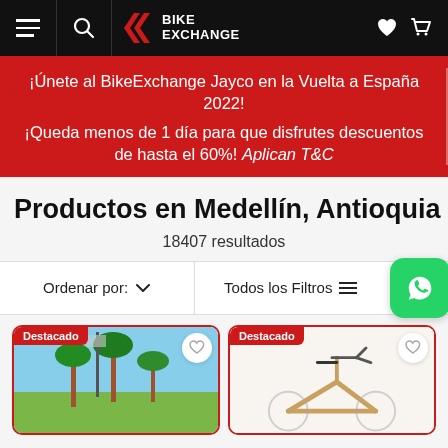BikeExchange navigation bar with menu, search, logo, heart and cart icons
¡Únete al BikeExchange Jayco en la Vuelta a España 2022! ¡Queda menos de 1 día para que disfrutes descuentos de hasta el 60%! Aplican T&C
Productos en Medellín, Antioquia
18407 resultados
Ordenar por: ∨   Todos los Filtros
[Figure (photo): Product card with Destacado badge showing outdoor scene with palm trees]
[Figure (photo): Product card with Destacado badge showing bicycle frame/handlebar]